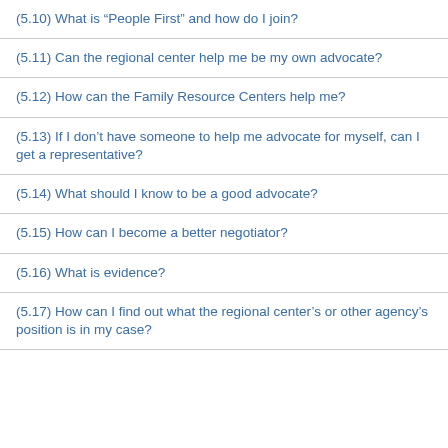(5.10) What is “People First” and how do I join?
(5.11) Can the regional center help me be my own advocate?
(5.12) How can the Family Resource Centers help me?
(5.13) If I don’t have someone to help me advocate for myself, can I get a representative?
(5.14) What should I know to be a good advocate?
(5.15) How can I become a better negotiator?
(5.16) What is evidence?
(5.17) How can I find out what the regional center’s or other agency’s position is in my case?